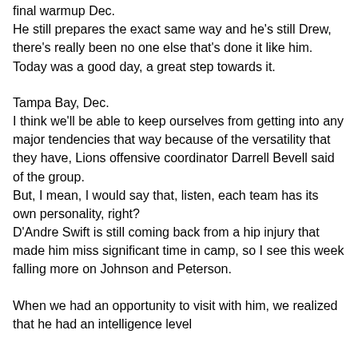final warmup Dec.
He still prepares the exact same way and he's still Drew, there's really been no one else that's done it like him. Today was a good day, a great step towards it.
Tampa Bay, Dec. I think we'll be able to keep ourselves from getting into any major tendencies that way because of the versatility that they have, Lions offensive coordinator Darrell Bevell said of the group. But, I mean, I would say that, listen, each team has its own personality, right? D'Andre Swift is still coming back from a hip injury that made him miss significant time in camp, so I see this week falling more on Johnson and Peterson.
When we had an opportunity to visit with him, we realized that he had an intelligence level